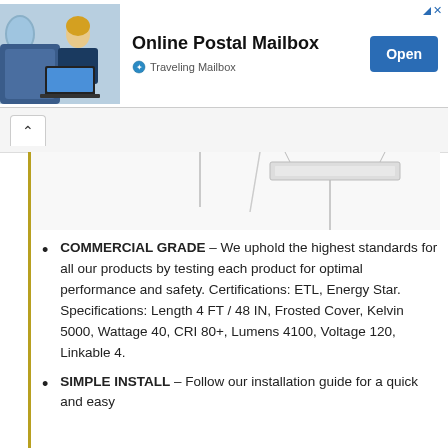[Figure (screenshot): Ad banner for Traveling Mailbox - Online Postal Mailbox. Shows woman on airplane using laptop. Has Open button.]
[Figure (photo): Partial product image of commercial grade light fixture at top of content area]
COMMERCIAL GRADE – We uphold the highest standards for all our products by testing each product for optimal performance and safety. Certifications: ETL, Energy Star. Specifications: Length 4 FT / 48 IN, Frosted Cover, Kelvin 5000, Wattage 40, CRI 80+, Lumens 4100, Voltage 120, Linkable 4.
SIMPLE INSTALL – Follow our installation guide for a quick and easy